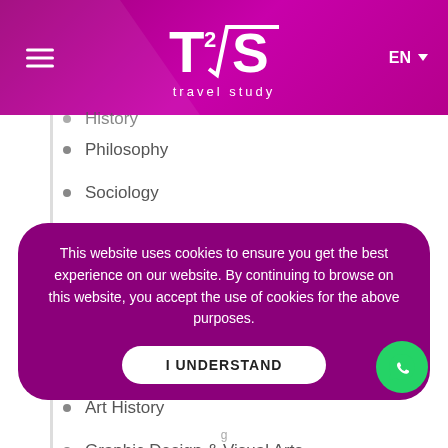[Figure (logo): T2√S travel study logo on magenta/purple background with hamburger menu and EN language selector]
History
Philosophy
Sociology
Psychology
Technology
Music
Theatre Arts
Art History
Graphic Design & Visual Arts
This website uses cookies to ensure you get the best experience on our website. By continuing to browse on this website, you accept the use of cookies for the above purposes.
I UNDERSTAND